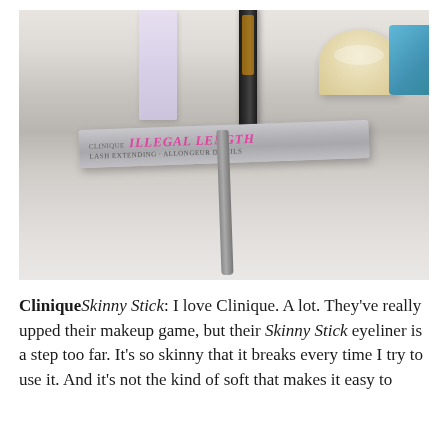[Figure (photo): Photograph of beauty/makeup products on a white surface, featuring a silver Clinique Illegal Length mascara box in the foreground, with a purple bottle, black mascara tube, gold cream jar, and blue item in the background.]
CliniqueSkinny Stick: I love Clinique. A lot. They've really upped their makeup game, but their Skinny Stick eyeliner is a step too far. It's so skinny that it breaks every time I try to use it. And it's not the kind of soft that makes it easy to